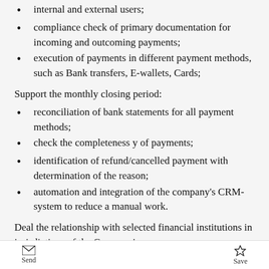internal and external users;
compliance check of primary documentation for incoming and outcoming payments;
execution of payments in different payment methods, such as Bank transfers, E-wallets, Cards;
Support the monthly closing period:
reconciliation of bank statements for all payment methods;
check the completeness y of payments;
identification of refund/cancelled payment with determination of the reason;
automation and integration of the company's CRM- system to reduce a manual work.
Deal the relationship with selected financial institutions in jurisdictions of the Company's
Send   Save